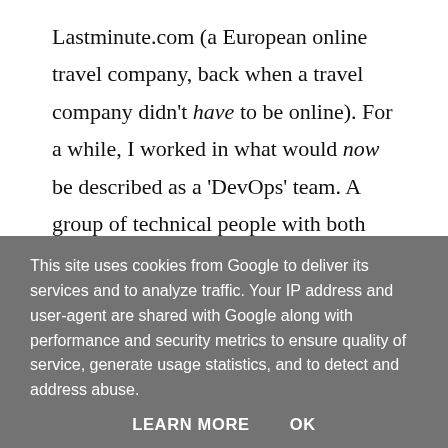Lastminute.com (a European online travel company, back when a travel company didn't have to be online). For a while, I worked in what would now be described as a 'DevOps' team. A group of technical people with both programming and operational skills.
I was in a hybrid development/operations role, where I spent my time investigating and remedying production issues using my development, investigative and still nascent testing skills. It was a hectic job working long hours away from home. Finding myself overloaded with work, I quickly
This site uses cookies from Google to deliver its services and to analyze traffic. Your IP address and user-agent are shared with Google along with performance and security metrics to ensure quality of service, generate usage statistics, and to detect and address abuse.
LEARN MORE    OK